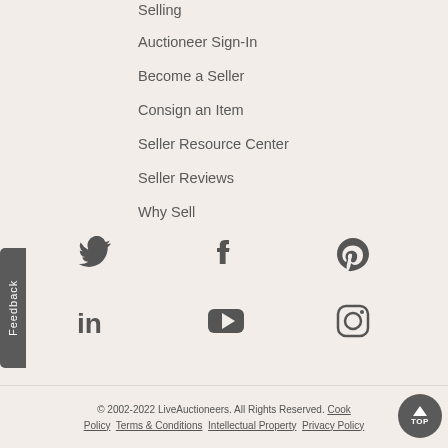Selling
Auctioneer Sign-In
Become a Seller
Consign an Item
Seller Resource Center
Seller Reviews
Why Sell
[Figure (other): Social media icons row 1: Twitter, Facebook, Pinterest]
[Figure (other): Social media icons row 2: LinkedIn, YouTube, Instagram]
Feedback
© 2002-2022 LiveAuctioneers. All Rights Reserved. Cookie Policy  Terms & Conditions  Intellectual Property  Privacy Policy